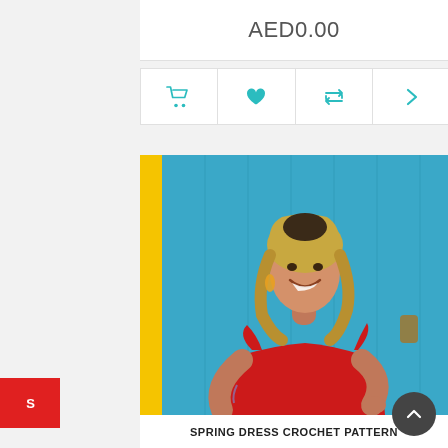AED0.00
[Figure (other): Action bar with shopping cart, heart, retweet, and arrow icons in teal color]
[Figure (photo): Woman wearing a red crochet dress standing in front of a blue door, smiling, with blonde hair and dangling earrings]
SPRING DRESS CROCHET PATTERN